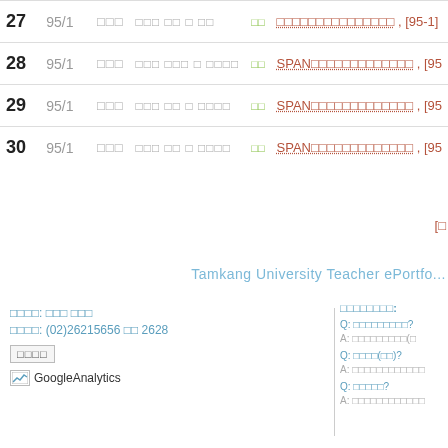| # | Version | Col3 | Col4 | Col5 | Col6 | Link |
| --- | --- | --- | --- | --- | --- | --- |
| 27 | 95/1 | □□□ | □□□ □□ □ □□ | □□ | □□□□□□□□□□□□□□□ | , [95-1] |
| 28 | 95/1 | □□□ | □□□ □□□ □ □□□□ | □□ | SPAN□□□□□□□□□□□□□ | , [95 |
| 29 | 95/1 | □□□ | □□□ □□ □ □□□□ | □□ | SPAN□□□□□□□□□□□□□ | , [95 |
| 30 | 95/1 | □□□ | □□□ □□ □ □□□□ | □□ | SPAN□□□□□□□□□□□□□ | , [95 |
[□
Tamkang University Teacher ePortfo...
□□□□□□□□:
Q: □□□□□□□□□?
A: □□□□□□□□□(□
Q: □□□□(□□)?
A: □□□□□□□□□□□□
Q: □□□□□?
A: □□□□□□□□□□□□
□□□□: □□□ □□□
□□□□: (02)26215656 □□ 2628
□□□□
GoogleAnalytics